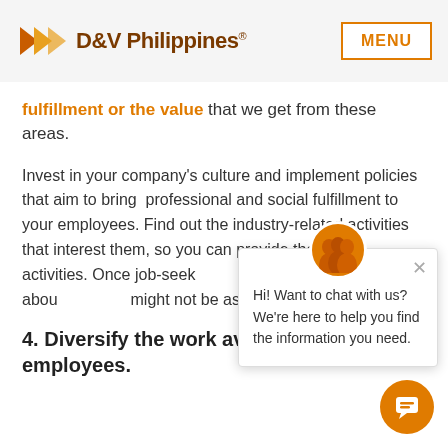D&V Philippines® | MENU
fulfillment or the value that we get from these areas.
Invest in your company's culture and implement policies that aim to bring professional and social fulfillment to your employees. Find out the industry-related activities that interest them, so you can provide them with the right activities. Once job-seekers and professionals hear about how you might not be asking yourself that anymore.
4. Diversify the work available to your employees.
[Figure (other): Chat popup with avatar showing team photo, close button, and message: Hi! Want to chat with us? We're here to help you find the information you need.]